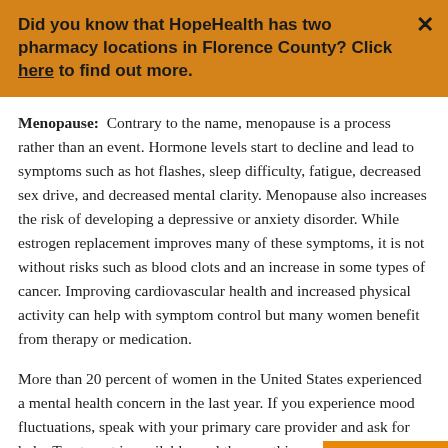Did you know that HopeHealth has two pharmacy locations in Florence County? Click here to find out more.
Menopause: Contrary to the name, menopause is a process rather than an event. Hormone levels start to decline and lead to symptoms such as hot flashes, sleep difficulty, fatigue, decreased sex drive, and decreased mental clarity. Menopause also increases the risk of developing a depressive or anxiety disorder. While estrogen replacement improves many of these symptoms, it is not without risks such as blood clots and an increase in some types of cancer. Improving cardiovascular health and increased physical activity can help with symptom control but many women benefit from therapy or medication.
More than 20 percent of women in the United States experienced a mental health concern in the last year. If you experience mood fluctuations, speak with your primary care provider and ask for help. Treatment is available, and the one thing my patients tell me is, “I wish I had asked for help sooner!”